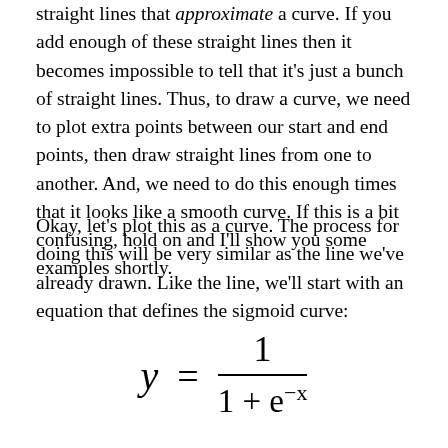straight lines that approximate a curve. If you add enough of these straight lines then it becomes impossible to tell that it's just a bunch of straight lines. Thus, to draw a curve, we need to plot extra points between our start and end points, then draw straight lines from one to another. And, we need to do this enough times that it looks like a smooth curve. If this is a bit confusing, hold on and I'll show you some examples shortly.
Okay, let's plot this as a curve. The process for doing this will be very similar as the line we've already drawn. Like the line, we'll start with an equation that defines the sigmoid curve: